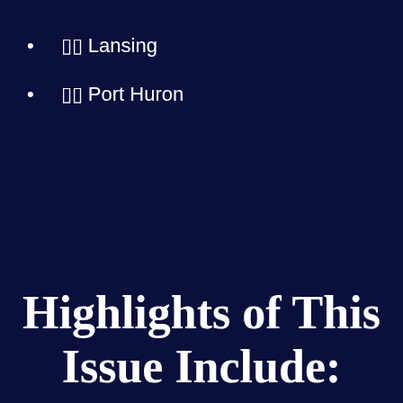▯▯ Lansing
▯▯ Port Huron
Highlights of This Issue Include: